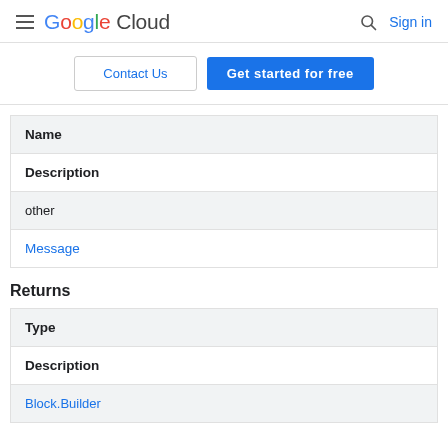Google Cloud — Sign in
Contact Us
Get started for free
| Name | Description |
| --- | --- |
| other | Message |
Returns
| Type | Description |
| --- | --- |
| Block.Builder |  |